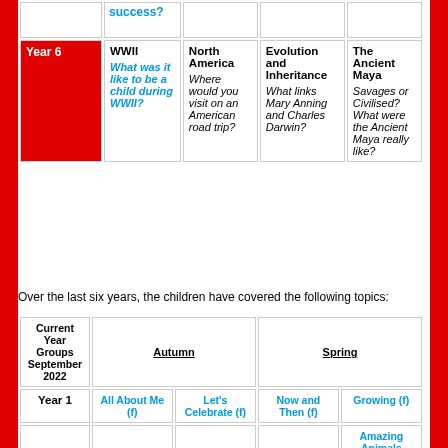|  | Col1 | Col2 | Col3 | Col4 |
| --- | --- | --- | --- | --- |
| Year 6 | WWII
What was it like to be a child during WWII? | North America
Where would you visit on an American road trip? | Evolution and Inheritance
What links Mary Anning and Charles Darwin? | The Ancient Maya
Savages or Civilised? What were the Ancient Maya really like? |
Over the last six years, the children have covered the following topics:
| Current Year Groups September 2022 | Autumn |  | Spring |  |
| --- | --- | --- | --- | --- |
| Year 1 | All About Me (f) | Let's Celebrate (f) | Now and Then (f) | Growing (f) | Amazing Animals |